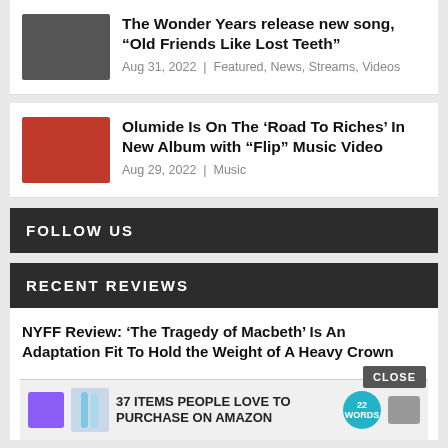The Wonder Years release new song, “Old Friends Like Lost Teeth”
Aug 31, 2022 | Featured, News, Streams, Videos
Olumide Is On The ‘Road To Riches’ In New Album with “Flip” Music Video
Aug 29, 2022 | Music
FOLLOW US
RECENT REVIEWS
NYFF Review: ‘The Tragedy of Macbeth’ Is An Adaptation Fit To Hold the Weight of A Heavy Crown
37 ITEMS PEOPLE LOVE TO PURCHASE ON AMAZON